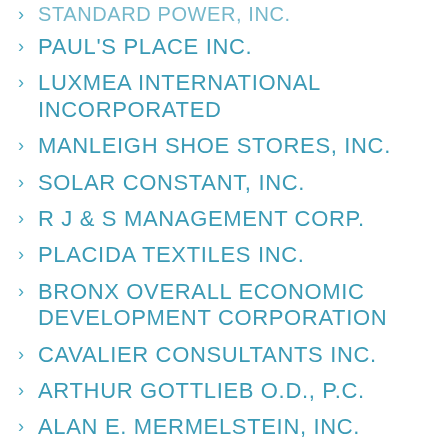STANDARD POWER, INC.
PAUL'S PLACE INC.
LUXMEA INTERNATIONAL INCORPORATED
MANLEIGH SHOE STORES, INC.
SOLAR CONSTANT, INC.
R J & S MANAGEMENT CORP.
PLACIDA TEXTILES INC.
BRONX OVERALL ECONOMIC DEVELOPMENT CORPORATION
CAVALIER CONSULTANTS INC.
ARTHUR GOTTLIEB O.D., P.C.
ALAN E. MERMELSTEIN, INC.
FIRST ASIAN AMERICAN